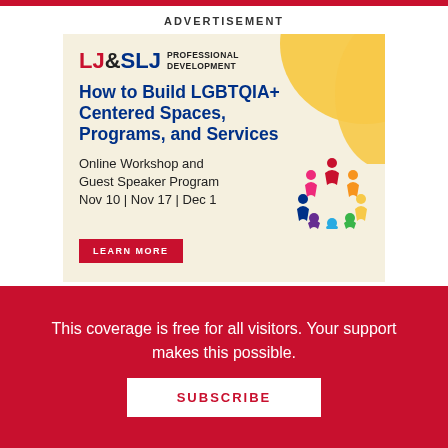ADVERTISEMENT
[Figure (illustration): LJ&SLJ Professional Development advertisement banner for 'How to Build LGBTQIA+ Centered Spaces, Programs, and Services' Online Workshop and Guest Speaker Program on Nov 10, Nov 17, Dec 1 with a Learn More button and a colorful diversity circle icon]
This coverage is free for all visitors. Your support makes this possible.
SUBSCRIBE